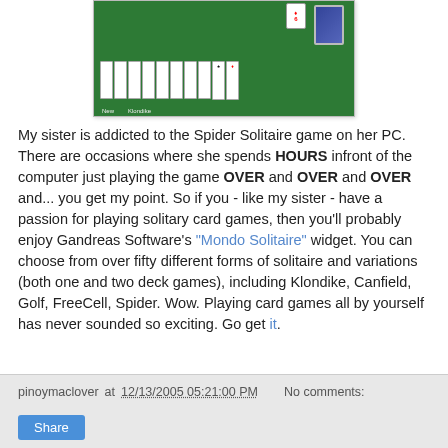[Figure (screenshot): Screenshot of a Solitaire card game (Klondike) running on a PC, showing a green card table with playing cards arranged in columns, a card back deck, and buttons labeled 'New' and 'Klondike'.]
My sister is addicted to the Spider Solitaire game on her PC. There are occasions where she spends HOURS infront of the computer just playing the game OVER and OVER and OVER and... you get my point. So if you - like my sister - have a passion for playing solitary card games, then you'll probably enjoy Gandreas Software's "Mondo Solitaire" widget. You can choose from over fifty different forms of solitaire and variations (both one and two deck games), including Klondike, Canfield, Golf, FreeCell, Spider. Wow. Playing card games all by yourself has never sounded so exciting. Go get it.
pinoymaclover at 12/13/2005 05:21:00 PM    No comments:
Share